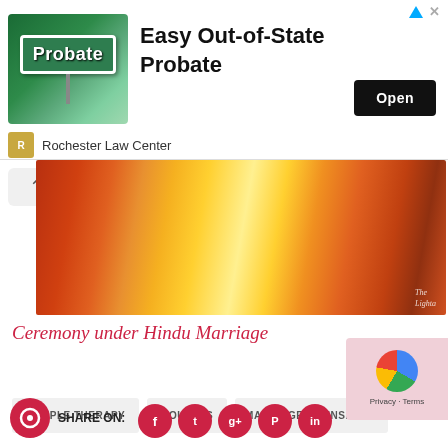[Figure (screenshot): Advertisement banner for Rochester Law Center featuring Easy Out-of-State Probate service with a green street sign reading Probate, an Open button, and the Rochester Law Center logo]
[Figure (photo): Hindu wedding ceremony photo showing fire ritual with orange and yellow flames, colorful floral decorations, and people in traditional attire. Watermark reads 'The Lighta...']
Ceremony under Hindu Marriage
COUPLE THERAPY
COUPLES
MARRIAGE COUNSELING
MARRIAGE GUIDE
SHARE ON:
[Figure (screenshot): reCAPTCHA widget with Privacy and Terms text]